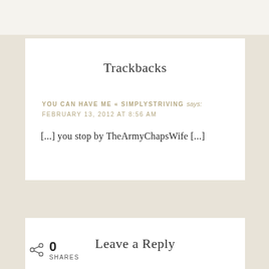Trackbacks
YOU CAN HAVE ME « SIMPLYSTRIVING says:
FEBRUARY 13, 2012 AT 8:56 AM
[...] you stop by TheArmyChapsWife [...]
Leave a Reply
0 SHARES